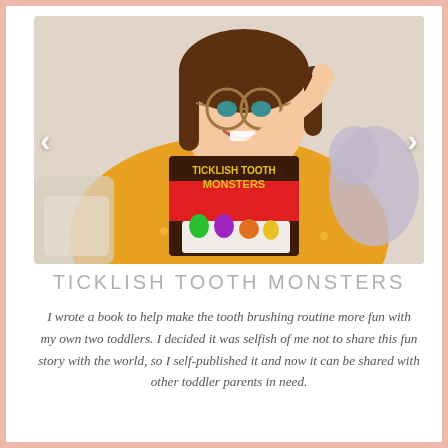[Figure (photo): A smiling woman with glasses in an orange/yellow polka dot top holding up a children's book titled 'Ticklish Tooth Monsters', pointing at it with her finger. Navigation arrows (< >) are overlaid on the left and right sides of the photo.]
TICKLISH TOOTH MONSTERS
I wrote a book to help make the tooth brushing routine more fun with my own two toddlers. I decided it was selfish of me not to share this fun story with the world, so I self-published it and now it can be shared with other toddler parents in need.